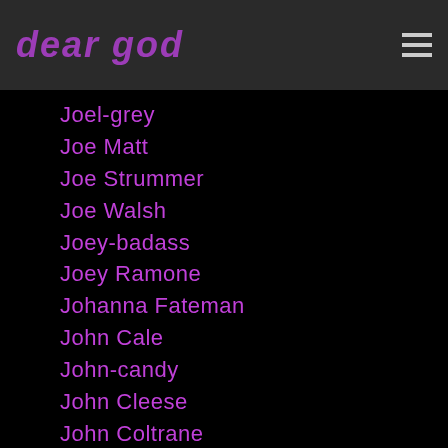dear god
Joel-grey
Joe Matt
Joe Strummer
Joe Walsh
Joey-badass
Joey Ramone
Johanna Fateman
John Cale
John-candy
John Cleese
John Coltrane
John Densmore
John Doe
John Dyer Baizley
John Fogerty
John Frusciante